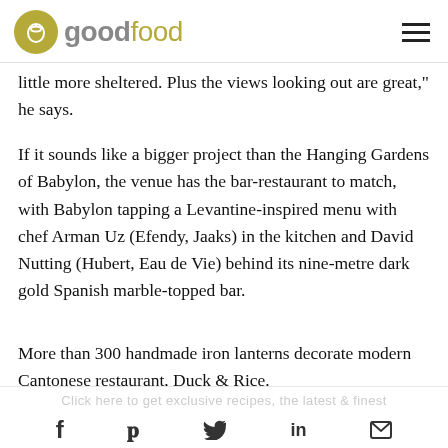goodfood
little more sheltered. Plus the views looking out are great," he says.
If it sounds like a bigger project than the Hanging Gardens of Babylon, the venue has the bar-restaurant to match, with Babylon tapping a Levantine-inspired menu with chef Arman Uz (Efendy, Jaaks) in the kitchen and David Nutting (Hubert, Eau de Vie) behind its nine-metre dark gold Spanish marble-topped bar.
More than 300 handmade iron lanterns decorate modern Cantonese restaurant, Duck & Rice.
f  p  (bird icon)  in  (mail icon)